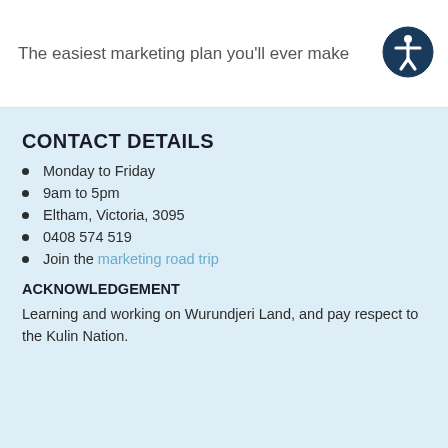The easiest marketing plan you'll ever make
CONTACT DETAILS
Monday to Friday
9am to 5pm
Eltham, Victoria, 3095
0408 574 519
Join the marketing road trip
ACKNOWLEDGEMENT
Learning and working on Wurundjeri Land, and pay respect to the Kulin Nation.